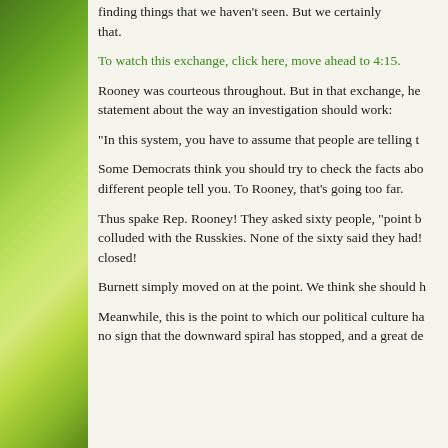finding things that we haven't seen. But we certainly that.
To watch this exchange, click here, move ahead to 4:15.
Rooney was courteous throughout. But in that exchange, he statement about the way an investigation should work:
"In this system, you have to assume that people are telling t
Some Democrats think you should try to check the facts abo different people tell you. To Rooney, that's going too far.
Thus spake Rep. Rooney! They asked sixty people, "point b colluded with the Russkies. None of the sixty said they had! closed!
Burnett simply moved on at the point. We think she should h
Meanwhile, this is the point to which our political culture ha no sign that the downward spiral has stopped, and a great de